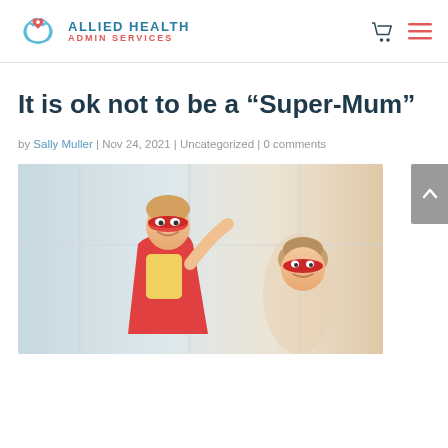Allied Health Admin Services
It is ok not to be a “Super-Mum”
by Sally Muller | Nov 24, 2021 | Uncategorized | 0 comments
[Figure (photo): A young girl dressed as a superhero with a red mask and cape, smiling, alongside a woman also wearing a red mask, photographed indoors near a window]